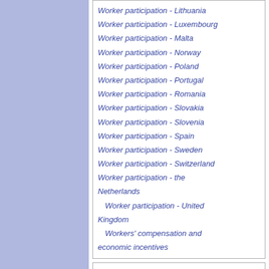Worker participation - Lithuania
Worker participation - Luxembourg
Worker participation - Malta
Worker participation - Norway
Worker participation - Poland
Worker participation - Portugal
Worker participation - Romania
Worker participation - Slovakia
Worker participation - Slovenia
Worker participation - Spain
Worker participation - Sweden
Worker participation - Switzerland
Worker participation - the Netherlands
Worker participation - United Kingdom
Workers' compensation and economic incentives
Contents [hide]
1 Introduction
2 Regulatory framework for worker participation in OSH
3 Employees' participation in OSH